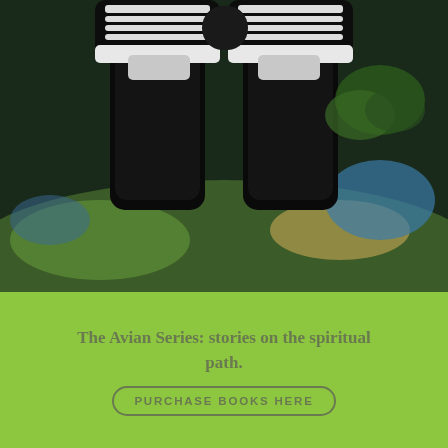[Figure (photo): Person's legs and feet wearing black and white high-top sneakers (Converse-style), dangling over a height with a landscape view below including greenery and water]
The Avian Series: stories on the spiritual path.  PURCHASE BOOKS HERE
A Boy With Wings
june 11, 2021 by nancy schoellkopf, posted in dreamscape, flash fiction, imagination, magical realism, possibility
Another re-run this week, another of my favorite #FlashFictionFriday stories. Enjoy!